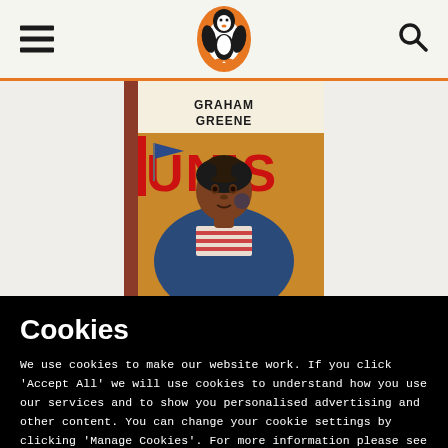Penguin Books header with hamburger menu, Penguin logo, and search icon
[Figure (photo): Book cover of Graham Greene novel showing a woman in a striped top with orange/earthy background and red text reading 'UNIS' (partial)]
Cookies
We use cookies to make our website work. If you click 'Accept All' we will use cookies to understand how you use our services and to show you personalised advertising and other content. You can change your cookie settings by clicking 'Manage Cookies'. For more information please see our cookie policy